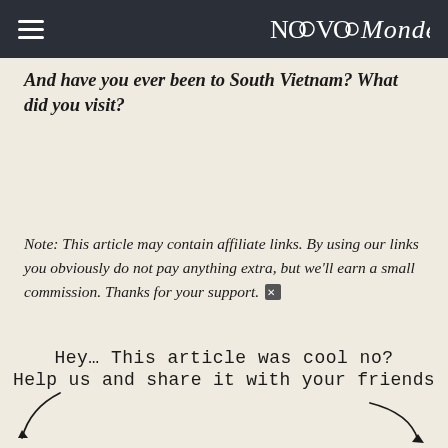NovoMonde
And have you ever been to South Vietnam? What did you visit?
Note: This article may contain affiliate links. By using our links you obviously do not pay anything extra, but we'll earn a small commission. Thanks for your support.
Hey… This article was cool no? Help us and share it with your friends